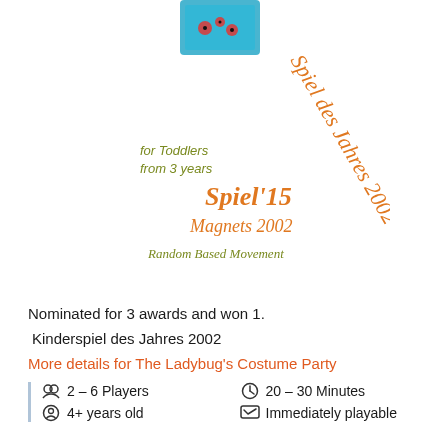[Figure (illustration): Award badge graphic with rotated text showing 'Spiel des Jahres 2002', 'for Toddlers from 3 years', 'Spiel'15', 'Magnets 2002', 'Random Based Movement' overlaid on a product image at top]
Nominated for 3 awards and won 1.
Kinderspiel des Jahres 2002
More details for The Ladybug's Costume Party
2 – 6 Players
20 – 30 Minutes
4+ years old
Immediately playable